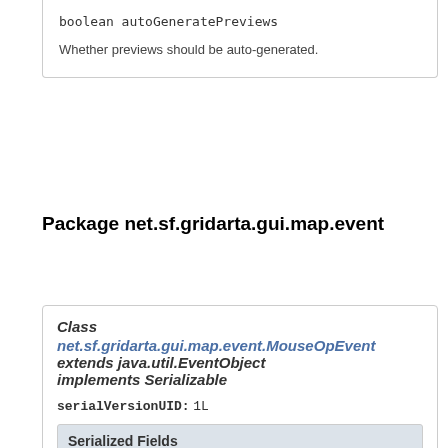boolean autoGeneratePreviews
Whether previews should be auto-generated.
Package net.sf.gridarta.gui.map.event
Class net.sf.gridarta.gui.map.event.MouseOpEvent extends java.util.EventObject implements Serializable
serialVersionUID: 1L
Serialized Fields
mapView
MapView<G extends GameObject<G,A,R>,A extends Map